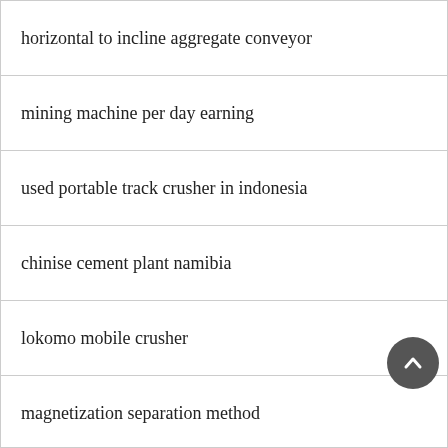horizontal to incline aggregate conveyor
mining machine per day earning
used portable track crusher in indonesia
chinise cement plant namibia
lokomo mobile crusher
magnetization separation method